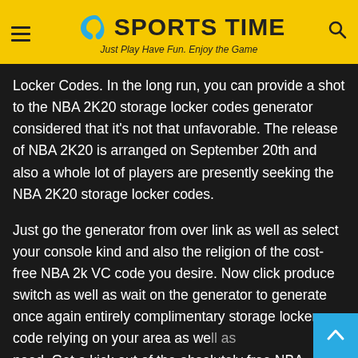SPORTS TIME — Just Play Have Fun. Enjoy the Game
Locker Codes. In the long run, you can provide a shot to the NBA 2K20 storage locker codes generator considered that it's not that unfavorable. The release of NBA 2K20 is arranged on September 20th and also a whole lot of players are presently seeking the NBA 2K20 storage locker codes.
Just go the generator from over link as well as select your console kind and also the religion of the cost-free NBA 2k VC code you desire. Now click produce switch as well as wait on the generator to generate once again entirely complimentary storage locker code relying on your area as well as need. Get a kick out of the absolutely free NBA 2k20 storage locker codes every day without the